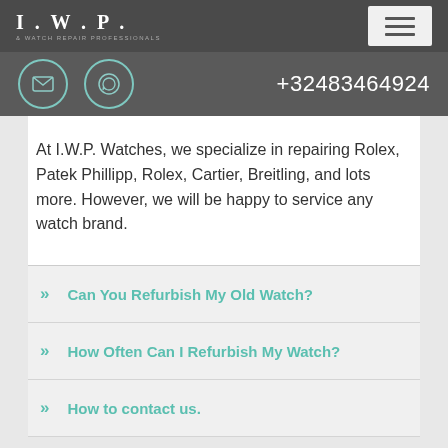I.W.P. & WATCH REPAIR PROFESSIONALS
+32483464924
At I.W.P. Watches, we specialize in repairing Rolex, Patek Phillipp, Rolex, Cartier, Breitling, and lots more. However, we will be happy to service any watch brand.
>> Can You Refurbish My Old Watch?
>> How Often Can I Refurbish My Watch?
>> How to contact us.